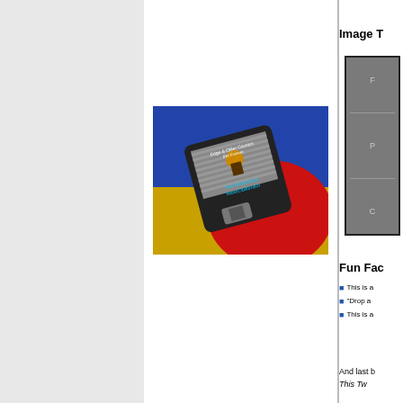Image T
[Figure (photo): Gray rectangle placeholder box with lighter text labels and dividers inside]
[Figure (illustration): Cartoon illustration of a floppy disk labeled 'Edge & Older Cousins Pet Forever: The Redundant Tweet Obliterator' against a background with blue sky, yellow field, and red shape]
Fun Facts
This is a
"Drop a
This is a
And last b
This Tw
T